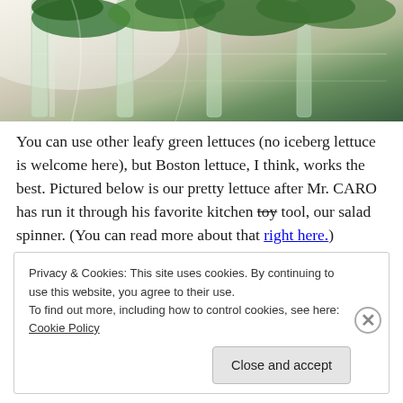[Figure (photo): Close-up photo of fresh green lettuce leaves in a clear plastic container/blender, on a light countertop background]
You can use other leafy green lettuces (no iceberg lettuce is welcome here), but Boston lettuce, I think, works the best. Pictured below is our pretty lettuce after Mr. CARO has run it through his favorite kitchen toy tool, our salad spinner. (You can read more about that right here.)
Privacy & Cookies: This site uses cookies. By continuing to use this website, you agree to their use.
To find out more, including how to control cookies, see here: Cookie Policy
Close and accept